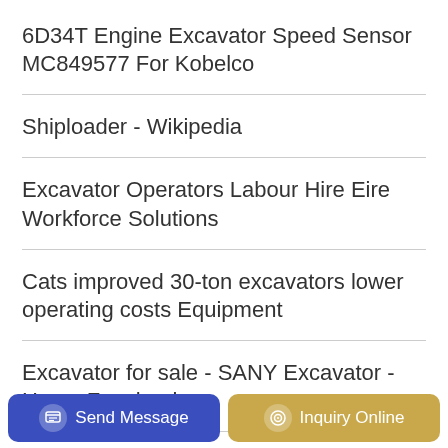6D34T Engine Excavator Speed Sensor MC849577 For Kobelco
Shiploader - Wikipedia
Excavator Operators Labour Hire Eire Workforce Solutions
Cats improved 30-ton excavators lower operating costs Equipment
Excavator for sale - SANY Excavator - Home Facebook
Front Loader vs Top Loader Washing Machines
6736-61-4110 belt tensioner fits for komatsu